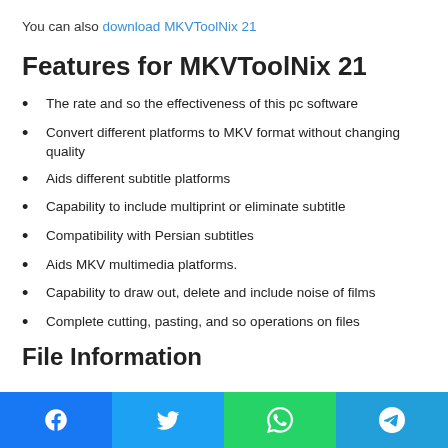You can also download MKVToolNix 21
Features for MKVToolNix 21
The rate and so the effectiveness of this pc software
Convert different platforms to MKV format without changing quality
Aids different subtitle platforms
Capability to include multiprint or eliminate subtitle
Compatibility with Persian subtitles
Aids MKV multimedia platforms.
Capability to draw out, delete and include noise of films
Complete cutting, pasting, and so operations on files
File Information